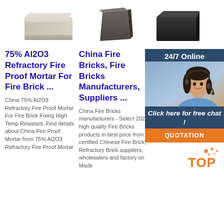[Figure (photo): Three product images of refractory bricks - left is a beige/grey rectangular brick, center is a dark grey/brown trapezoidal brick, right is a black rectangular block]
75% Al2O3 Refractory Fire Proof Mortar For Fire Brick ...
China 75% Al2O3 Refractory Fire Proof Mortar For Fire Brick Fixing High Temp Resistant, Find details about China Fire Proof Mortar from 75% Al2O3 Refractory Fire Proof Mortar
China Fire Bricks, Fire Bricks Manufacturers, Suppliers ...
China Fire Bricks manufacturers - Select 2021 high quality Fire Bricks products in best price from certified Chinese Fire Brick, Refractory Brick suppliers, wholesalers and factory on Made
China Sk34 Refra Firecl China
SK32 S refract brick D Firecla Chamotte that the fire clay is calcinated as the main material. These bricks consist of fire clay and binder. The
[Figure (screenshot): 24/7 Online chat widget with customer service representative photo, 'Click here for free chat!' text, and orange QUOTATION button]
[Figure (logo): TOP badge with orange dots in bottom right corner]